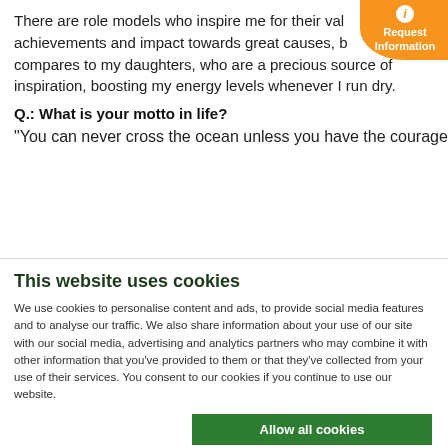There are role models who inspire me for their values, achievements and impact towards great causes, but nothing compares to my daughters, who are a precious source of inspiration, boosting my energy levels whenever I run dry.
Q.: What is your motto in life?
“You can never cross the ocean unless you have the courage to
[Figure (infographic): Orange circular badge with italic i icon and text 'Request Information']
This website uses cookies
We use cookies to personalise content and ads, to provide social media features and to analyse our traffic. We also share information about your use of our site with our social media, advertising and analytics partners who may combine it with other information that you've provided to them or that they've collected from your use of their services. You consent to our cookies if you continue to use our website.
Allow all cookies
Allow selection
Use necessary cookies only
Necessary  Preferences  Statistics  Marketing  Show details